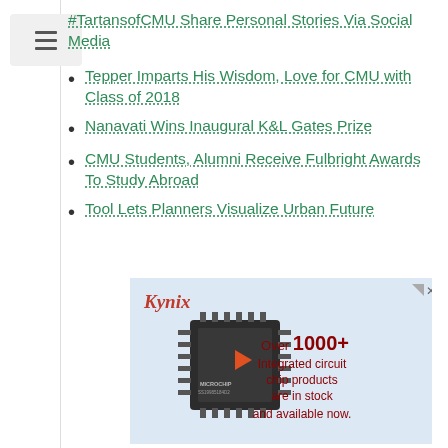#TartansofCMU Share Personal Stories Via Social Media
Tepper Imparts His Wisdom, Love for CMU with Class of 2018
Nanavati Wins Inaugural K&L Gates Prize
CMU Students, Alumni Receive Fulbright Awards To Study Abroad
Tool Lets Planners Visualize Urban Future
[Figure (photo): Kynix advertisement featuring a Microchip brand integrated circuit chip. Text reads: Over 1000+ Integrated circuit chip products are in stock and available now.]